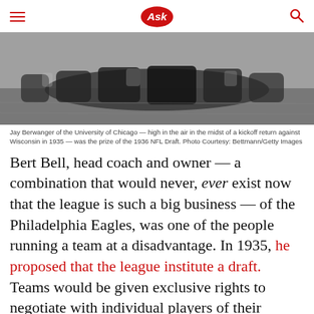Ask
[Figure (photo): Black and white photo of Jay Berwanger of the University of Chicago high in the air in the midst of a kickoff return against Wisconsin in 1935]
Jay Berwanger of the University of Chicago — high in the air in the midst of a kickoff return against Wisconsin in 1935 — was the prize of the 1936 NFL Draft. Photo Courtesy: Bettmann/Getty Images
Bert Bell, head coach and owner — a combination that would never, ever exist now that the league is such a big business — of the Philadelphia Eagles, was one of the people running a team at a disadvantage. In 1935, he proposed that the league institute a draft. Teams would be given exclusive rights to negotiate with individual players of their choosing, and if that player couldn't agree to a contract with the team that had his